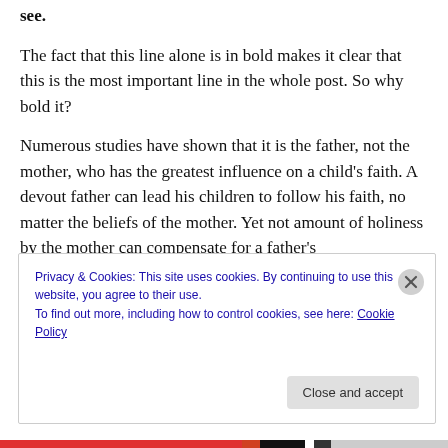see.
The fact that this line alone is in bold makes it clear that this is the most important line in the whole post. So why bold it?
Numerous studies have shown that it is the father, not the mother, who has the greatest influence on a child’s faith. A devout father can lead his children to follow his faith, no matter the beliefs of the mother. Yet not amount of holiness by the mother can compensate for a father’s
Privacy & Cookies: This site uses cookies. By continuing to use this website, you agree to their use.
To find out more, including how to control cookies, see here: Cookie Policy